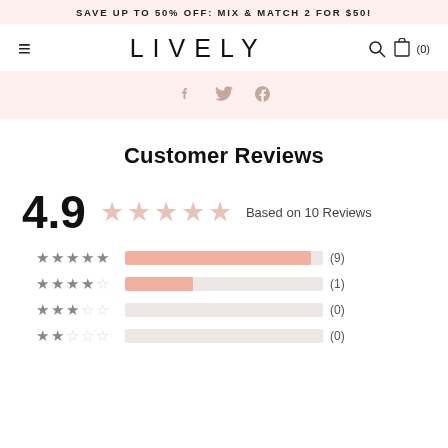SAVE UP TO 50% OFF: MIX & MATCH 2 FOR $50!
[Figure (logo): LIVELY brand logo with hamburger menu, search icon, and cart icon showing (0) items]
[Figure (infographic): Social share icons: Facebook, Twitter, Pinterest on a light pink background]
Customer Reviews
[Figure (infographic): Rating summary showing 4.9 with 5 stars and 'Based on 10 Reviews']
[Figure (bar-chart): Rating breakdown]